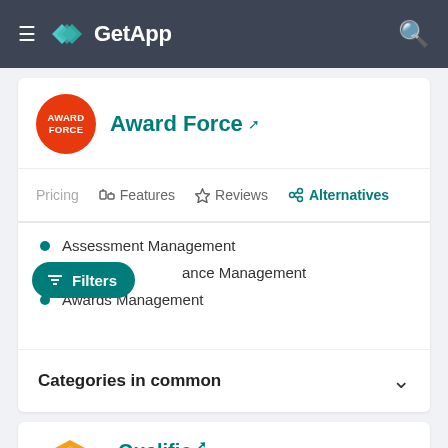GetApp
Award Force
Pricing | Features | Reviews | Alternatives
Assessment Management
ance Management
Awards Management
Categories in common
Qualifio
4.3 (41)
Data collection & interactive content creation